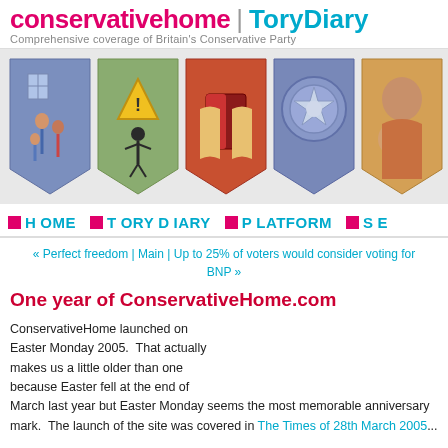conservativehome | ToryDiary — Comprehensive coverage of Britain's Conservative Party
[Figure (illustration): Five decorative shield illustrations representing Conservative Party themes: family/housing, work/construction, books/education, police/law, and mother/child]
HOME | TORYDIARY | PLATFORM | SE...
« Perfect freedom | Main | Up to 25% of voters would consider voting for BNP »
One year of ConservativeHome.com
ConservativeHome launched on Easter Monday 2005.  That actually makes us a little older than one because Easter fell at the end of March last year but Easter Monday seems the most memorable anniversary mark.  The launch of the site was covered in The Times of 28th March 2005...